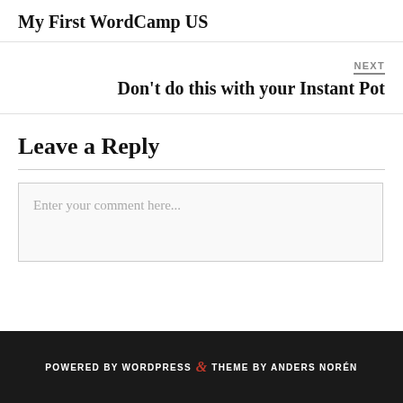My First WordCamp US
NEXT
Don't do this with your Instant Pot
Leave a Reply
Enter your comment here...
POWERED BY WORDPRESS & THEME BY ANDERS NORÉN